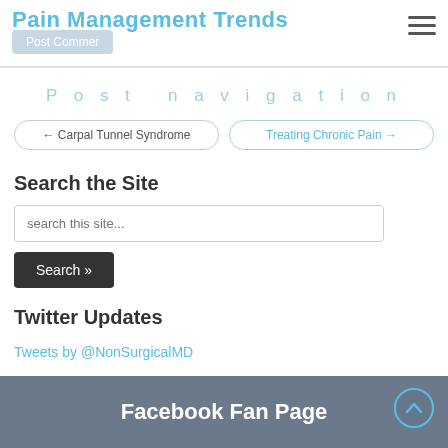Pain Management Trends
Post navigation
← Carpal Tunnel Syndrome
Treating Chronic Pain →
Search the Site
search this site...
Search »
Twitter Updates
Tweets by @NonSurgicalMD
Facebook Fan Page